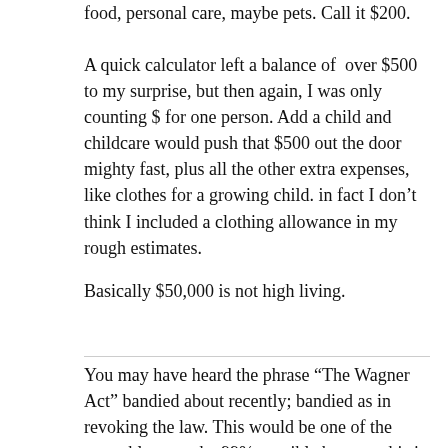food, personal care, maybe pets. Call it $200.
A quick calculator left a balance of  over $500 to my surprise, but then again, I was only counting $ for one person. Add a child and childcare would push that $500 out the door mighty fast, plus all the other extra expenses, like clothes for a growing child. in fact I don't think I included a clothing allowance in my rough estimates.
Basically $50,000 is not high living.
You may have heard the phrase “The Wagner Act” bandied about recently; bandied as in revoking the law. This would be one of the worst blows to the 99% possible because this is what lead to the creation of of the National Labor Relations Board becoming a vital part of the government agencies